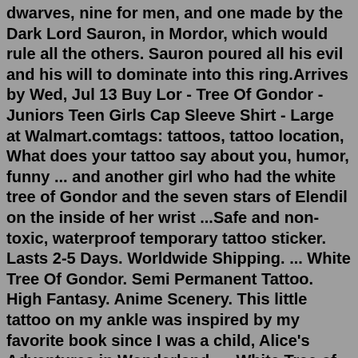dwarves, nine for men, and one made by the Dark Lord Sauron, in Mordor, which would rule all the others. Sauron poured all his evil and his will to dominate into this ring.Arrives by Wed, Jul 13 Buy Lor - Tree Of Gondor - Juniors Teen Girls Cap Sleeve Shirt - Large at Walmart.comtags: tattoos, tattoo location, What does your tattoo say about you, humor, funny ... and another girl who had the white tree of Gondor and the seven stars of Elendil on the inside of her wrist ...Safe and non-toxic, waterproof temporary tattoo sticker. Lasts 2-5 Days. Worldwide Shipping. ... White Tree Of Gondor. Semi Permanent Tattoo. High Fantasy. Anime Scenery. This little tattoo on my ankle was inspired by my favorite book since I was a child, Alice's Adventures in Wonderland. ... White Tree of Gondor from The Lord of the Rings.Posting and re-blogging Tolkien-themed tattoos, giving credit whenever possible. If a photo belongs to you and is uncredited or you would like me to remove it, please send me a message and I will happily do so! ... Tree of Gondor. Done at Psycho Tattoo in Marietta, Georgia